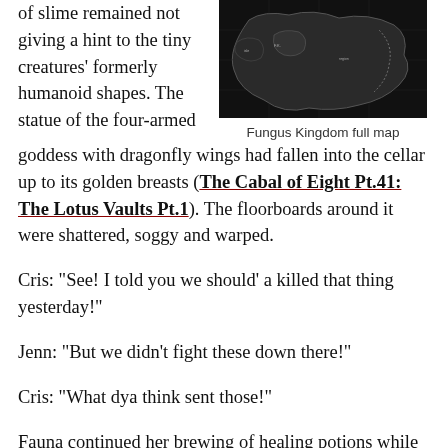of slime remained not giving a hint to the tiny creatures' formerly humanoid shapes. The statue of the four-armed
[Figure (map): Fungus Kingdom full map — black background fantasy dungeon/region map with irregular borders, dotted coastline, and small labeled regions]
Fungus Kingdom full map
goddess with dragonfly wings had fallen into the cellar up to its golden breasts (The Cabal of Eight Pt.41: The Lotus Vaults Pt.1). The floorboards around it were shattered, soggy and warped.
Cris: “See! I told you we should’ a killed that thing yesterday!”
Jenn: “But we didn’t fight these down there!”
Cris: “What dya think sent those!”
Fauna continued her brewing of healing potions while